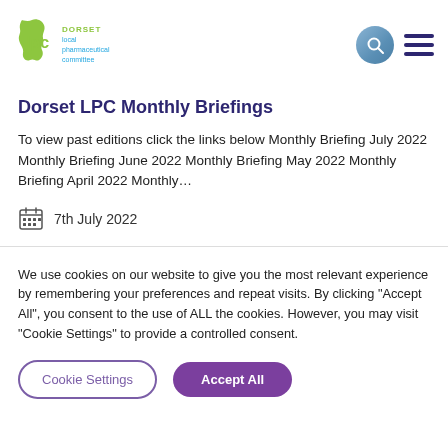[Figure (logo): Dorset LPC (Local Pharmaceutical Committee) logo — green map shape with 'lpc' text and blue text 'Dorset local pharmaceutical committee']
Dorset LPC Monthly Briefings
To view past editions click the links below Monthly Briefing July 2022 Monthly Briefing June 2022 Monthly Briefing May 2022 Monthly Briefing April 2022 Monthly…
7th July 2022
We use cookies on our website to give you the most relevant experience by remembering your preferences and repeat visits. By clicking "Accept All", you consent to the use of ALL the cookies. However, you may visit "Cookie Settings" to provide a controlled consent.
Cookie Settings
Accept All